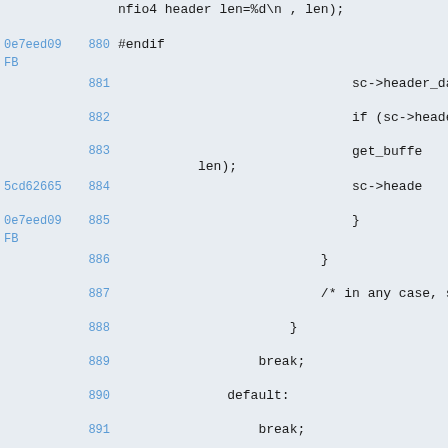Source code diff view, lines 879-893
879 (partial): nfio4 header len=%d\n , len);
0e7eed09 FB 880: #endif
881: sc->header_da
882: if (sc->heade
883: get_buffe / len);
5cd62665 884: sc->heade
0e7eed09 FB 885: }
886: }
887: /* in any case, s
888: }
889: break;
890: default:
891: break;
892: }
5cd62665 893: fail: